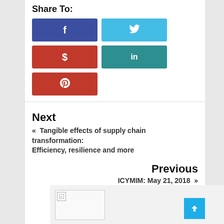Share To:
[Figure (infographic): Social share buttons grid: Facebook (blue), Twitter (light blue), Dollar/Cash (red), LinkedIn (teal), Pinterest (red)]
Next
« Tangible effects of supply chain transformation: Efficiency, resilience and more
Previous
ICYMIM: May 21, 2018 »
[Figure (photo): Image placeholder with broken image icon in bottom-left area]